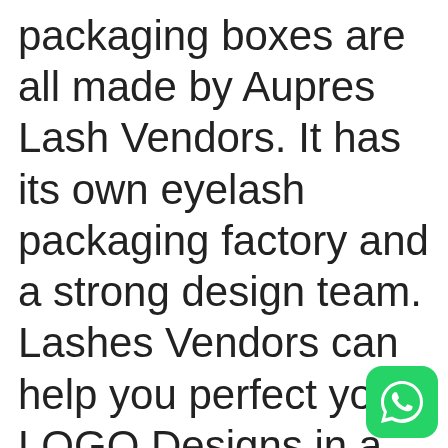packaging boxes are all made by Aupres Lash Vendors. It has its own eyelash packaging factory and a strong design team. Lashes Vendors can help you perfect your LOGO Designs in a short time and help you make your beautiful packaging boxes. You can receive your order within 8 days and start business quickly. Pink Marb Custom Eyelash Packaging
[Figure (logo): WhatsApp icon button — green rounded square with white phone handset icon, positioned at bottom-right corner]